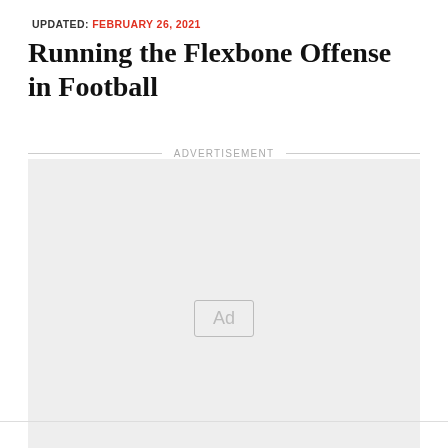UPDATED: FEBRUARY 26, 2021
Running the Flexbone Offense in Football
[Figure (other): Advertisement placeholder box with 'Ad' label inside a light gray rectangle, preceded by an ADVERTISEMENT label row with horizontal rules on either side.]